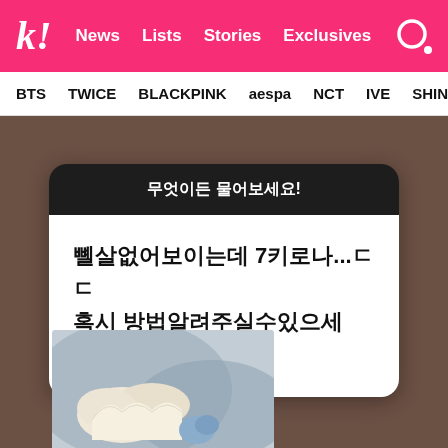k! News Lists Stories Exclusives
BTS  TWICE  BLACKPINK  aespa  NCT  IVE  SHINee
[Figure (screenshot): Korean Instagram story Q&A sticker with dark header reading '무엇이든 물어보세요!' and white body reading '뼬살없어보이는데 7키로나...ㄷㄷ 혹시 방법알려주실수있으세요??']
[Figure (photo): Bottom portion of a photo showing what appears to be food items, partially visible at the bottom of the content area]